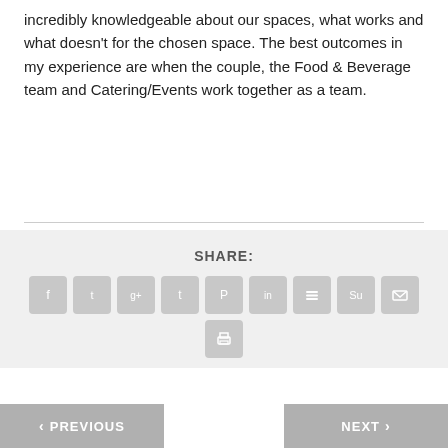We have a great sales and events team that are incredibly knowledgeable about our spaces, what works and what doesn't for the chosen space. The best outcomes in my experience are when the couple, the Food & Beverage team and Catering/Events work together as a team.
SHARE:
[Figure (infographic): Social media share buttons: Facebook, Twitter, Google+, Tumblr, Pinterest, LinkedIn, Buffer, StumbleUpon, Email, Print]
PREVIOUS
NEXT